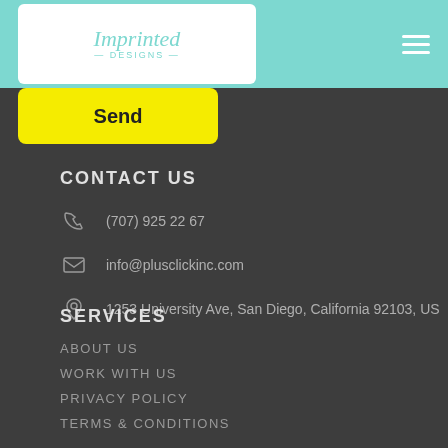[Figure (logo): Imprinted Designs logo in script font on white rounded rectangle background, within teal header bar with hamburger menu icon]
Send
CONTACT US
(707) 925 22 67
info@plusclickinc.com
1253 University Ave, San Diego, California 92103, US
SERVICES
ABOUT US
WORK WITH US
PRIVACY POLICY
TERMS & CONDITIONS